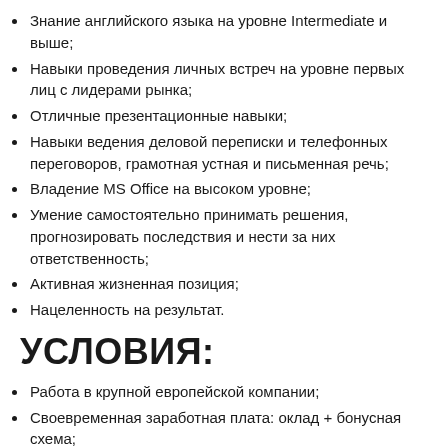Знание английского языка на уровне Intermediate и выше;
Навыки проведения личных встреч на уровне первых лиц с лидерами рынка;
Отличные презентационные навыки;
Навыки ведения деловой переписки и телефонных переговоров, грамотная устная и письменная речь;
Владение MS Office на высоком уровне;
Умение самостоятельно принимать решения, прогнозировать последствия и нести за них ответственность;
Активная жизненная позиция;
Нацеленность на результат.
УСЛОВИЯ:
Работа в крупной европейской компании;
Своевременная заработная плата: оклад + бонусная схема;
График работы 5/2, рабочий день 9.00-18.00;